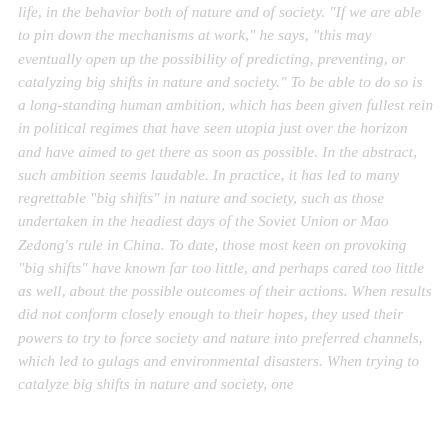life, in the behavior both of nature and of society. "If we are able to pin down the mechanisms at work," he says, "this may eventually open up the possibility of predicting, preventing, or catalyzing big shifts in nature and society." To be able to do so is a long-standing human ambition, which has been given fullest rein in political regimes that have seen utopia just over the horizon and have aimed to get there as soon as possible. In the abstract, such ambition seems laudable. In practice, it has led to many regrettable "big shifts" in nature and society, such as those undertaken in the headiest days of the Soviet Union or Mao Zedong's rule in China. To date, those most keen on provoking "big shifts" have known far too little, and perhaps cared too little as well, about the possible outcomes of their actions. When results did not conform closely enough to their hopes, they used their powers to try to force society and nature into preferred channels, which led to gulags and environmental disasters. When trying to catalyze big shifts in nature and society, one